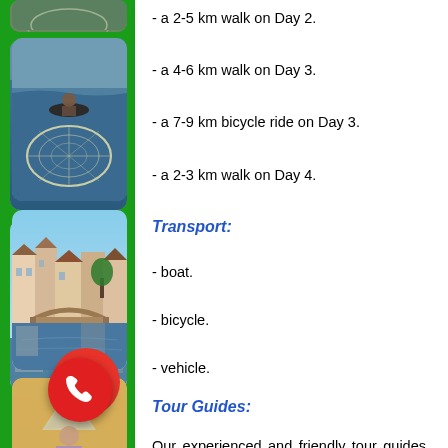[Figure (photo): Person fishing from a boat with a large circular net on water]
[Figure (photo): Canal scene with traditional buildings and bridge reflected in water]
[Figure (photo): Woman in traditional Vietnamese conical hat walking with a bicycle]
[Figure (photo): Market scene with people selling goods and bowls of produce]
[Figure (photo): Partial view of green landscape at bottom]
- a 2-5 km walk on Day 2.
- a 4-6 km walk on Day 3.
- a 7-9 km bicycle ride on Day 3.
- a 2-3 km walk on Day 4.
Transport:
- boat.
- bicycle.
- vehicle.
Tour Guides:
Our experienced and friendly tour guides speak fluent English.